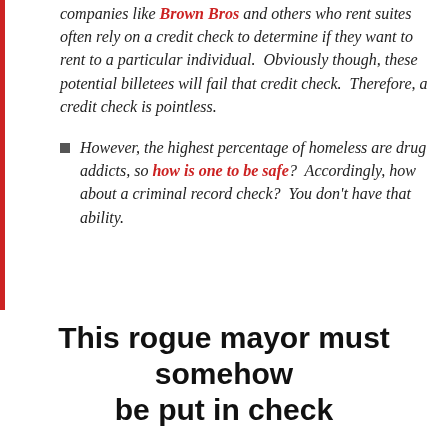companies like Brown Bros and others who rent suites often rely on a credit check to determine if they want to rent to a particular individual.  Obviously though, these potential billetees will fail that credit check.  Therefore, a credit check is pointless.
However, the highest percentage of homeless are drug addicts, so how is one to be safe?  Accordingly, how about a criminal record check?  You don't have that ability.
This rogue mayor must somehow be put in check
SHARE THIS ON SOCIAL MEDIA
Also, like me on Facebook
Follow me on Twitter @HannonHal